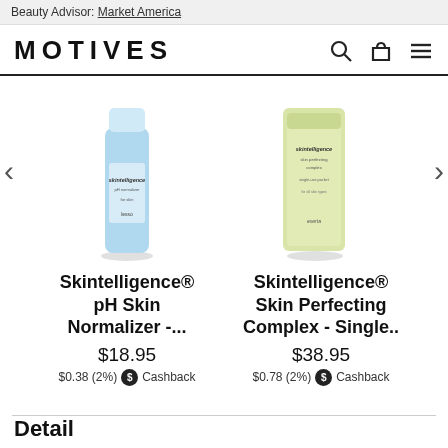Beauty Advisor: Market America
MOTIVES
[Figure (screenshot): Carousel with two skincare product bottles: Skintelligence pH Skin Normalizer (blue bottle) and Skintelligence Skin Perfecting Complex Single (yellow/green packet), with left and right navigation arrows]
Skintelligence® pH Skin Normalizer -...
$18.95
$0.38 (2%) Cashback
Skintelligence® Skin Perfecting Complex - Single..
$38.95
$0.78 (2%) Cashback
Detail